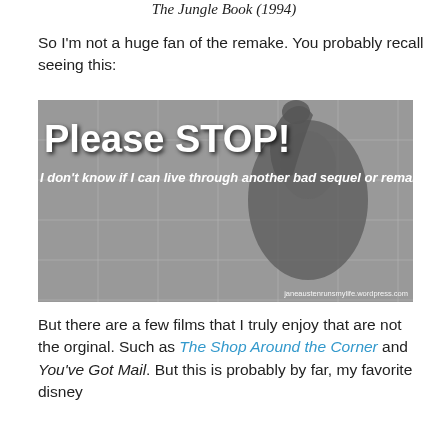The Jungle Book (1994)
So I'm not a huge fan of the remake. You probably recall seeing this:
[Figure (photo): Black and white meme image showing a person in a shower with raised hand, text overlay reading 'Please STOP! I don't know if I can live through another bad sequel or remake!' with watermark janeaustenrunsmylife.wordpress.com]
But there are a few films that I truly enjoy that are not the orginal. Such as The Shop Around the Corner and You've Got Mail. But this is probably by far, my favorite disney